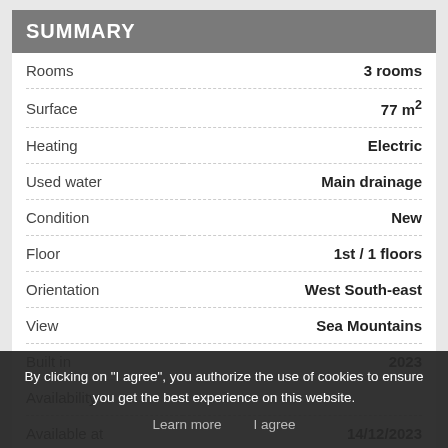SUMMARY
| Property | Value |
| --- | --- |
| Rooms | 3 rooms |
| Surface | 77 m² |
| Heating | Electric |
| Used water | Main drainage |
| Condition | New |
| Floor | 1st / 1 floors |
| Orientation | West South-east |
| View | Sea Mountains |
| Built in | 2023 |
| Availability |  |
| Available at | 14/12/2023 |
By clicking on "I agree", you authorize the use of cookies to ensure you get the best experience on this website.
Learn more   I agree
1 Hall
1 Lavatory   2.19 m²